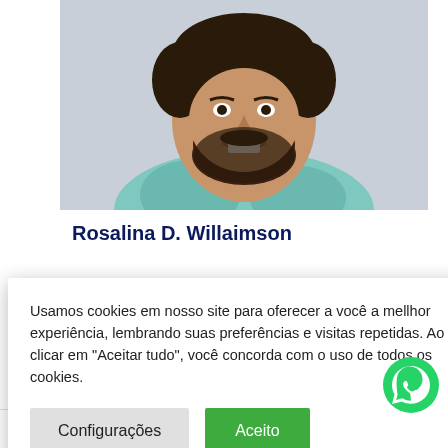[Figure (photo): Headshot of a bearded man wearing a floral teal shirt, smiling, against a gray background.]
Rosalina D. Willaimson
t etur
por
Usamos cookies em nosso site para oferecer a você a mellhor experiência, lembrando suas preferências e visitas repetidas. Ao clicar em "Aceitar tudo", você concorda com o uso de todos os cookies.
Configurações
Aceito
[Figure (logo): WhatsApp green circular icon with white phone handset.]
SEARCH HERE